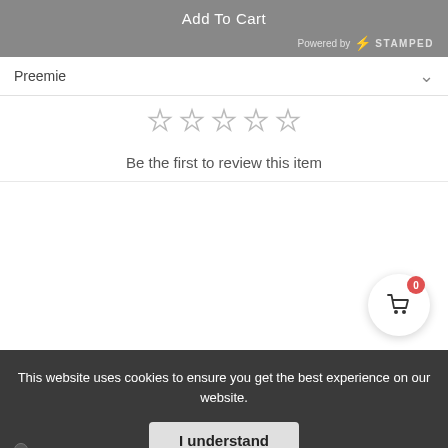Add To Cart
Powered by ⚡ STAMPED
Preemie
[Figure (other): Five empty/hollow star rating icons in a row]
Be the first to review this item
[Figure (other): Shopping cart button with red badge showing 0]
This website uses cookies to ensure you get the best experience on our website.
I understand